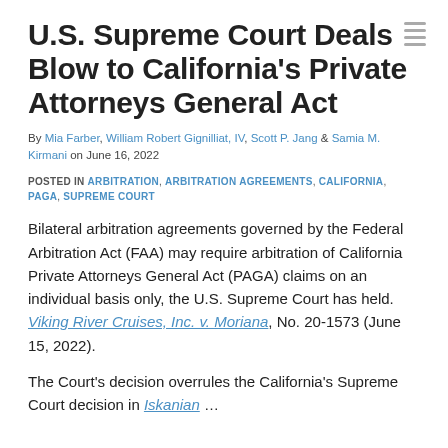U.S. Supreme Court Deals Blow to California's Private Attorneys General Act
By Mia Farber, William Robert Gignilliat, IV, Scott P. Jang & Samia M. Kirmani on June 16, 2022
POSTED IN ARBITRATION, ARBITRATION AGREEMENTS, CALIFORNIA, PAGA, SUPREME COURT
Bilateral arbitration agreements governed by the Federal Arbitration Act (FAA) may require arbitration of California Private Attorneys General Act (PAGA) claims on an individual basis only, the U.S. Supreme Court has held. Viking River Cruises, Inc. v. Moriana, No. 20-1573 (June 15, 2022).
The Court's decision overrules the California's Supreme Court decision in Iskanian …